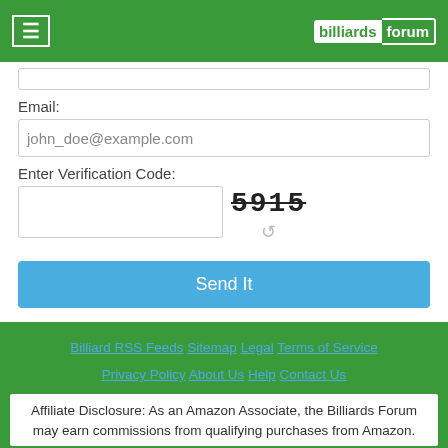billiards forum
Email:
john_doe@example.com
Enter Verification Code:
5915
Send It
Billiard RSS Feeds  Sitemap  Legal  Terms of Service  Privacy Policy  About Us  Help  Contact Us
Affiliate Disclosure: As an Amazon Associate, the Billiards Forum may earn commissions from qualifying purchases from Amazon.